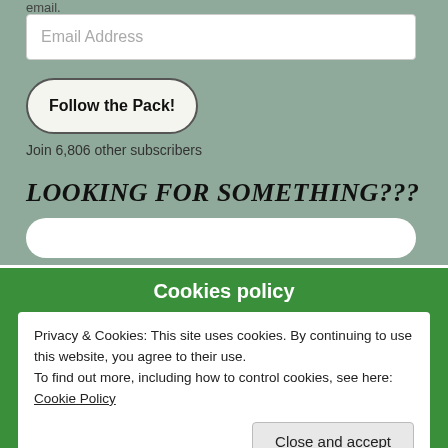email.
Email Address
Follow the Pack!
Join 6,806 other subscribers
LOOKING FOR SOMETHING???
THE LINK TO THE SIGN UP FORM TO LEARN ABOUT
Cookies policy
Privacy & Cookies: This site uses cookies. By continuing to use this website, you agree to their use.
To find out more, including how to control cookies, see here: Cookie Policy
Close and accept